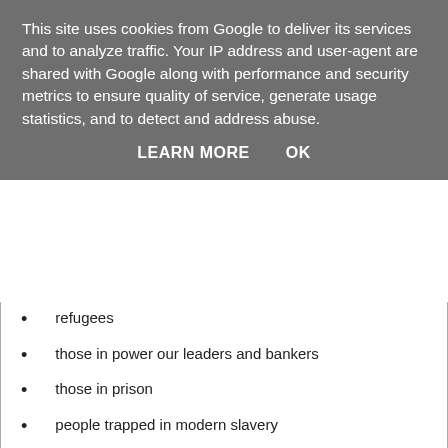This site uses cookies from Google to deliver its services and to analyze traffic. Your IP address and user-agent are shared with Google along with performance and security metrics to ensure quality of service, generate usage statistics, and to detect and address abuse.
LEARN MORE    OK
refugees
those in power our leaders and bankers
those in prison
people trapped in modern slavery
my friend, colleagues and family
| I am going to invite a friend to Church |
| I am going talk to colleagues about Easter |
| I am going to come out on the soup run or volunteer to prepare food |
| I am going to drop something in a food bank box |
| I am going to write to my MP about something that matters in my faith |
| I am going to get to know my neighbours |
| I am going to learn more about my faith |
| I am going to find out about and maybe join groups in a community |